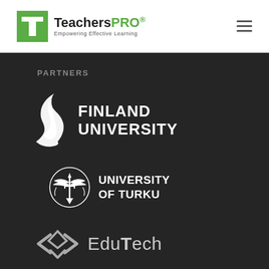[Figure (logo): TeachersPRO logo with green T icon and tagline 'Empowering Effective Learning']
PARTNERS
[Figure (logo): Finland University logo with white flame/ribbon icon and bold white text 'FINLAND UNIVERSITY']
[Figure (logo): University of Turku logo with ornate trident crest icon and white bold text 'UNIVERSITY OF TURKU']
[Figure (logo): EduTech logo with geometric diamond/chevron icon in grey and text 'EduTech']